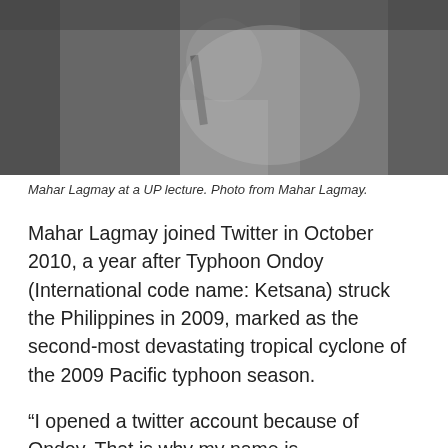[Figure (photo): Black and white photo of Mahar Lagmay at a UP lecture, holding a microphone or pointer, slightly blurred background.]
Mahar Lagmay at a UP lecture. Photo from Mahar Lagmay.
Mahar Lagmay joined Twitter in October 2010, a year after Typhoon Ondoy (International code name: Ketsana) struck the Philippines in 2009, marked as the second-most devastating tropical cyclone of the 2009 Pacific typhoon season.
“I opened a twitter account because of Ondoy. That is why my name is @nababaha,” revealed Lagmay about his account handle which is Filipino for “flood/flooded/flooding”.
Lagmay says he started tweeting using Google maps to get the historical account of floods.